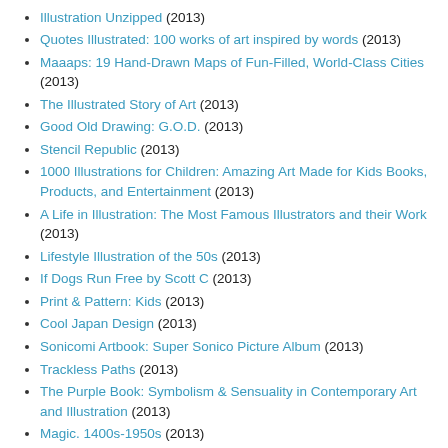Illustration Unzipped (2013)
Quotes Illustrated: 100 works of art inspired by words (2013)
Maaaps: 19 Hand-Drawn Maps of Fun-Filled, World-Class Cities (2013)
The Illustrated Story of Art (2013)
Good Old Drawing: G.O.D. (2013)
Stencil Republic (2013)
1000 Illustrations for Children: Amazing Art Made for Kids Books, Products, and Entertainment (2013)
A Life in Illustration: The Most Famous Illustrators and their Work (2013)
Lifestyle Illustration of the 50s (2013)
If Dogs Run Free by Scott C (2013)
Print & Pattern: Kids (2013)
Cool Japan Design (2013)
Sonicomi Artbook: Super Sonico Picture Album (2013)
Trackless Paths (2013)
The Purple Book: Symbolism & Sensuality in Contemporary Art and Illustration (2013)
Magic. 1400s-1950s (2013)
The Resurrectionist: The Lost Work of Dr. Spencer Black (2013)
Creative Cultures: The Singapore Showcase (2013)